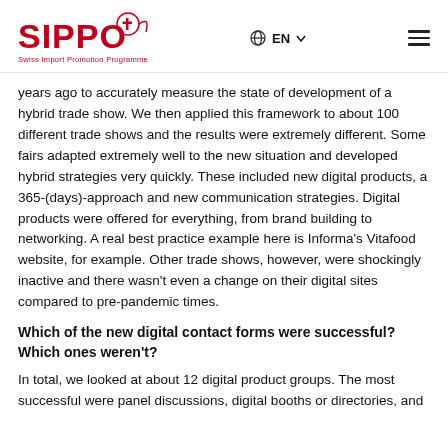SIPPO Swiss Import Promotion Programme | EN | menu
years ago to accurately measure the state of development of a hybrid trade show. We then applied this framework to about 100 different trade shows and the results were extremely different. Some fairs adapted extremely well to the new situation and developed hybrid strategies very quickly. These included new digital products, a 365-(days)-approach and new communication strategies. Digital products were offered for everything, from brand building to networking. A real best practice example here is Informa's Vitafood website, for example. Other trade shows, however, were shockingly inactive and there wasn't even a change on their digital sites compared to pre-pandemic times.
Which of the new digital contact forms were successful? Which ones weren't?
In total, we looked at about 12 digital product groups. The most successful were panel discussions, digital booths or directories, and